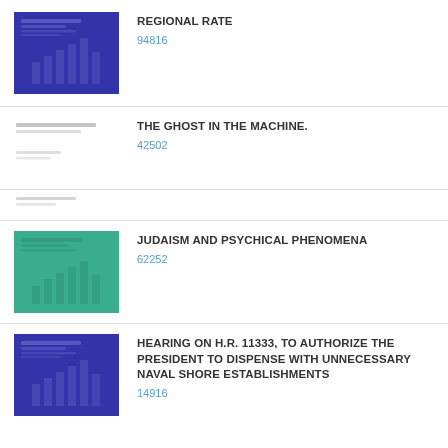[Figure (illustration): Blue book cover thumbnail with vertical bar graph pattern]
REGIONAL RATE
94816
[Figure (illustration): Faded/gray thumbnail with text lines]
THE GHOST IN THE MACHINE.
42502
[Figure (illustration): Small gray thumbnail with lines]
[Figure (illustration): Teal/green book cover thumbnail with vertical bar graph pattern]
JUDAISM AND PSYCHICAL PHENOMENA
62252
[Figure (illustration): Blue book cover thumbnail with vertical bar graph pattern]
HEARING ON H.R. 11333, TO AUTHORIZE THE PRESIDENT TO DISPENSE WITH UNNECESSARY NAVAL SHORE ESTABLISHMENTS
14916